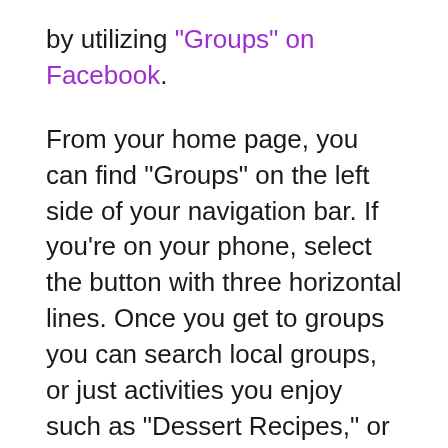by utilizing "Groups" on Facebook.
From your home page, you can find "Groups" on the left side of your navigation bar. If you're on your phone, select the button with three horizontal lines. Once you get to groups you can search local groups, or just activities you enjoy such as "Dessert Recipes," or "Chocolate," (can you guess what we like?).
You can  also try Meet Up or Next Door. Meetup.com allows you to start a group or